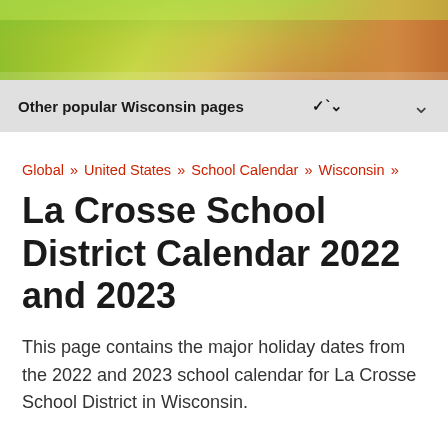[Figure (photo): Nature/outdoor photo showing green grass/foliage and what appears to be an animal (dog or similar) with fur visible on the right side. Used as a decorative banner image.]
Other popular Wisconsin pages
Global » United States » School Calendar » Wisconsin »
La Crosse School District Calendar 2022 and 2023
This page contains the major holiday dates from the 2022 and 2023 school calendar for La Crosse School District in Wisconsin.